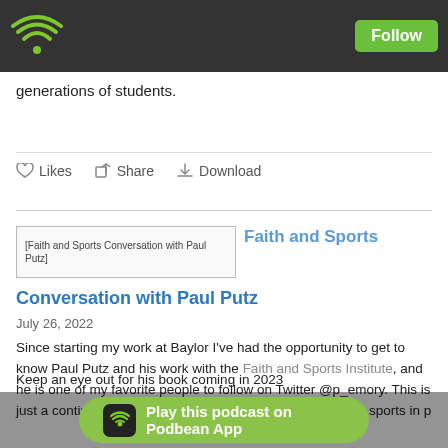Podbean – Follow button header
generations of students.
Likes  Share  Download
[Figure (screenshot): Podcast thumbnail image placeholder labeled 'Faith and Sports Conversation with Paul Putz']
Faith and Sports
Conversation with Paul Putz
July 26, 2022
Since starting my work at Baylor I've had the opportunity to get to know Paul Putz and his work with the Faith and Sports Institute, and he is one of my favorite people to follow on Twitter @p_emory. This is just a continuation of conversations we've had about youth sports in p
Keep an eye out for his book coming in 2023
Play this podcast on Podbean App